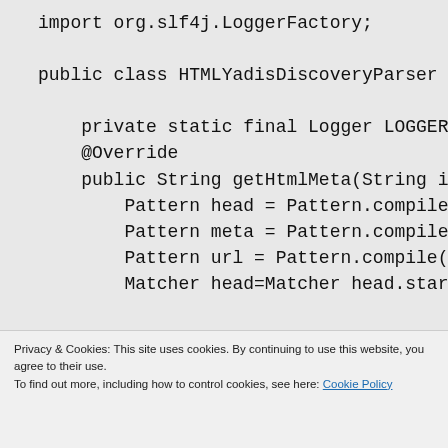import org.slf4j.LoggerFactory;

public class HTMLYadisDiscoveryParser imp

    private static final Logger LOGGER =
    @Override
    public String getHtmlMeta(String inpu
        Pattern head = Pattern.compile("\
        Pattern meta = Pattern.compile("\
        Pattern url = Pattern.compile("co
        Matcher head=Matcher head.start((
Privacy & Cookies: This site uses cookies. By continuing to use this website, you agree to their use.
To find out more, including how to control cookies, see here: Cookie Policy